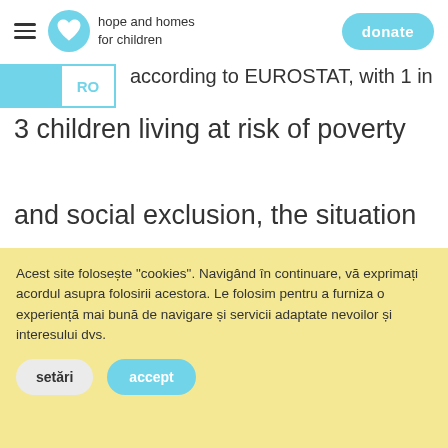hope and homes for children | donate
according to EUROSTAT, with 1 in 3 children living at risk of poverty and social exclusion, the situation is becoming increasingly alarming: in the absence of the basics to survive – a roof over their heads
Acest site folosește "cookies". Navigând în continuare, vă exprimați acordul asupra folosirii acestora. Le folosim pentru a furniza o experiență mai bună de navigare și servicii adaptate nevoilor și interesul dvs.
setări
accept